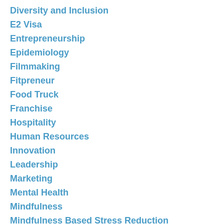Diversity and Inclusion
E2 Visa
Entrepreneurship
Epidemiology
Filmmaking
Fitpreneur
Food Truck
Franchise
Hospitality
Human Resources
Innovation
Leadership
Marketing
Mental Health
Mindfulness
Mindfulness Based Stress Reduction